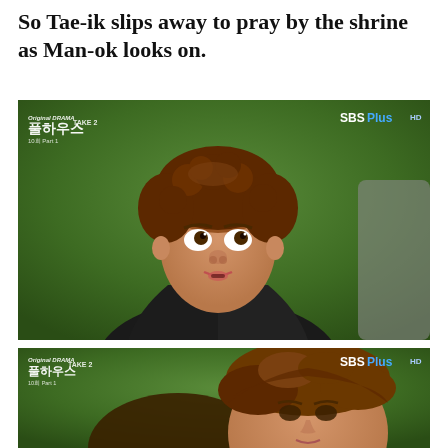So Tae-ik slips away to pray by the shrine as Man-ok looks on.
[Figure (screenshot): TV screenshot of a young woman with curly brown hair wearing a black leather jacket over a red top, looking upward with wide eyes. Korean drama 'Full House Take 2' watermark (Original DRAMA, 풀하우스, TAKE 2, 10회 Part 1) in top-left and 'SBS Plus HD' logo in top-right. Green foliage background.]
[Figure (screenshot): TV screenshot showing a person with short wavy brown hair in the foreground, looking slightly downward. Same Korean drama watermarks visible: Original DRAMA, 풀하우스, TAKE 2, 10회 Part 1, and SBS Plus HD. Green foliage background.]